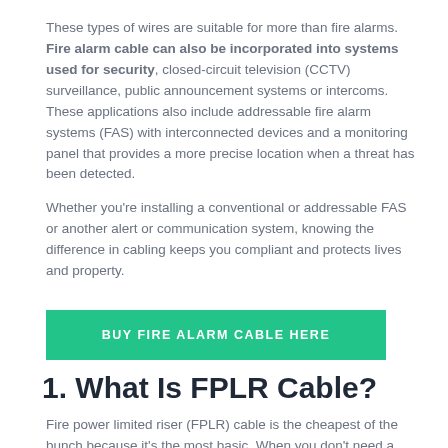These types of wires are suitable for more than fire alarms. Fire alarm cable can also be incorporated into systems used for security, closed-circuit television (CCTV) surveillance, public announcement systems or intercoms. These applications also include addressable fire alarm systems (FAS) with interconnected devices and a monitoring panel that provides a more precise location when a threat has been detected.
Whether you're installing a conventional or addressable FAS or another alert or communication system, knowing the difference in cabling keeps you compliant and protects lives and property.
BUY FIRE ALARM CABLE HERE
1. What Is FPLR Cable?
Fire power limited riser (FPLR) cable is the cheapest of the bunch because it's the most basic. When you don't need a shield or plenum insulation, you go with a riser fire alarm cable that gets installed vertically, hence the name "riser." These cables come in